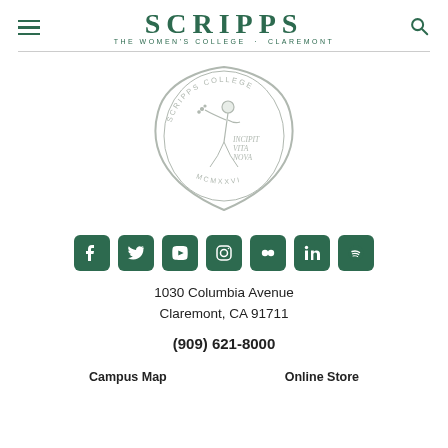SCRIPPS · THE WOMEN'S COLLEGE · CLAREMONT
[Figure (logo): Scripps College seal with figure sowing seeds, text INCIPIT VITA NOVA and MCMXXVI, shield shape with SCRIPPS COLLEGE around border]
[Figure (logo): Social media icons row: Facebook, Twitter, YouTube, Instagram, Flickr, LinkedIn, Spotify — all in dark green rounded square icons]
1030 Columbia Avenue
Claremont, CA 91711
(909) 621-8000
Campus Map    Online Store